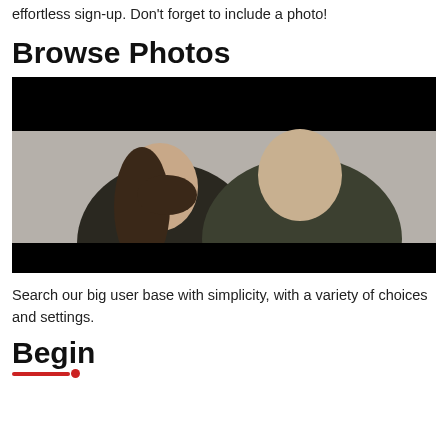effortless sign-up. Don’t forget to include a photo!
Browse Photos
[Figure (photo): Two young people making fun faces (sticking tongues out), one wearing a dark leather jacket with long brown hair, the other wearing a camouflage jacket with patches. Black bars at top and bottom of image.]
Search our big user base with simplicity, with a variety of choices and settings.
Begin